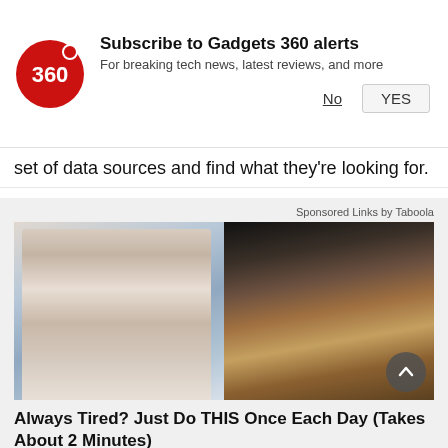[Figure (screenshot): Gadgets 360 subscription notification bar with red circular logo showing '360', bold text 'Subscribe to Gadgets 360 alerts', subtitle 'For breaking tech news, latest reviews, and more', and two buttons 'No' and 'YES']
set of data sources and find what they're looking for.
Sponsored Links by Taboola
[Figure (photo): Advertisement image split in two: left side shows an older man in a suit with glasses pointing at something, right side shows hands handling small objects on a sandy surface]
Always Tired? Just Do THIS Once Each Day (Takes About 2 Minutes)
Gundry MD